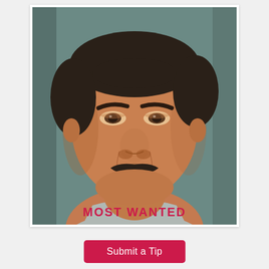[Figure (photo): Mugshot of a middle-aged Hispanic male with dark hair and a dark mustache, wearing a gray t-shirt, against a gray-green background. Text overlay reads 'MOST WANTED' in red at the bottom of the photo.]
Submit a Tip